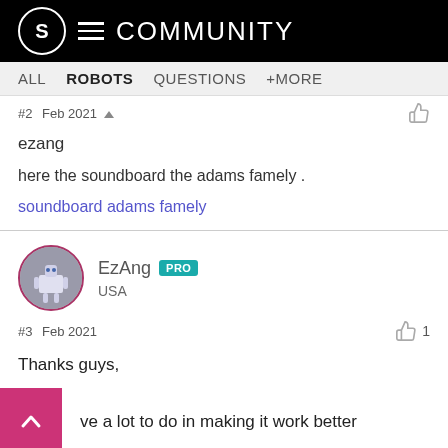S ☰ COMMUNITY
ALL  ROBOTS  QUESTIONS  +MORE
#2  Feb 2021
ezang
here the soundboard the adams famely .
soundboard adams famely
EzAng PRO
USA
#3  Feb 2021  👍 1
Thanks guys,
ve a lot to do in making it work better